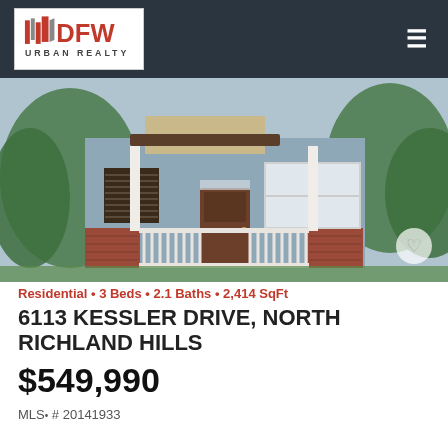[Figure (logo): DFW Urban Realty logo with stylized flag/pennant icons and red DFW text, URBAN REALTY below]
[Figure (photo): Exterior rendering of a craftsman-style residential home with blue-gray siding, brick base, front porch with white railings, brown door, and large windows surrounded by trees]
Residential • 3 Beds • 2.1 Baths • 2,414 SqFt
6113 KESSLER DRIVE, NORTH RICHLAND HILLS
$549,990
MLS• # 20141933